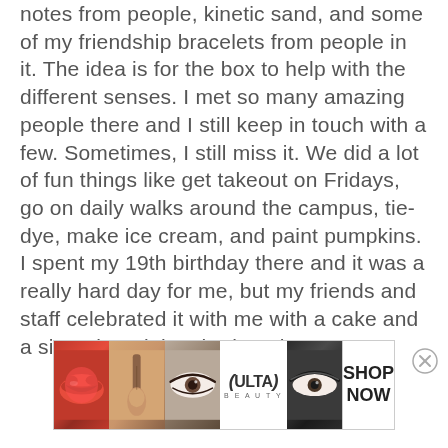notes from people, kinetic sand, and some of my friendship bracelets from people in it. The idea is for the box to help with the different senses. I met so many amazing people there and I still keep in touch with a few. Sometimes, I still miss it. We did a lot of fun things like get takeout on Fridays, go on daily walks around the campus, tie-dye, make ice cream, and paint pumpkins. I spent my 19th birthday there and it was a really hard day for me, but my friends and staff celebrated it with me with a cake and a signed card they had made.
[Figure (other): Ulta Beauty advertisement banner showing close-up images of lips with red lipstick, a makeup brush, an eye with eyeliner, the Ulta Beauty logo, eyes with dark smoky eye makeup, and a 'SHOP NOW' call to action button.]